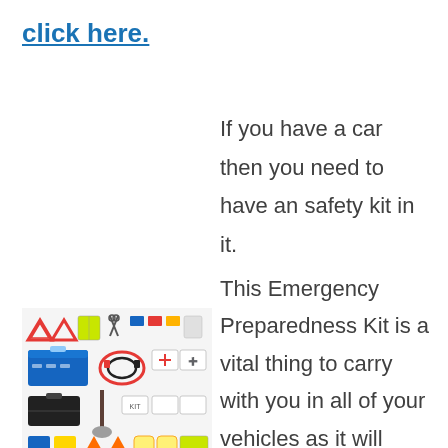click here.
If you have a car then you need to have an safety kit in it.
[Figure (photo): Emergency preparedness kit items including warning triangles, scissors, tools, jump cables, shovel, first aid supplies, gloves, and other safety equipment laid out on white background]
This Emergency Preparedness Kit is a vital thing to carry with you in all of your vehicles as it will help not only in the case of an weather emergency but also